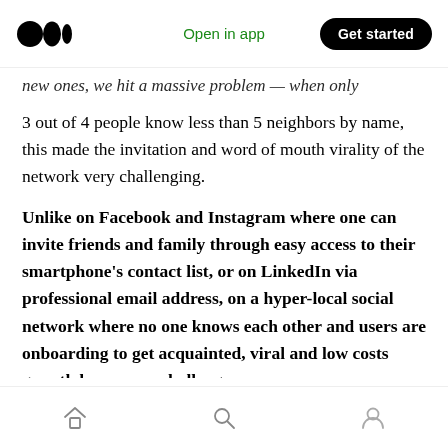Medium logo | Open in app | Get started
new ones, we hit a massive problem — when only 3 out of 4 people know less than 5 neighbors by name, this made the invitation and word of mouth virality of the network very challenging.
Unlike on Facebook and Instagram where one can invite friends and family through easy access to their smartphone's contact list, or on LinkedIn via professional email address, on a hyper-local social network where no one knows each other and users are onboarding to get acquainted, viral and low costs growth becomes a challenge.
Home | Search | Profile